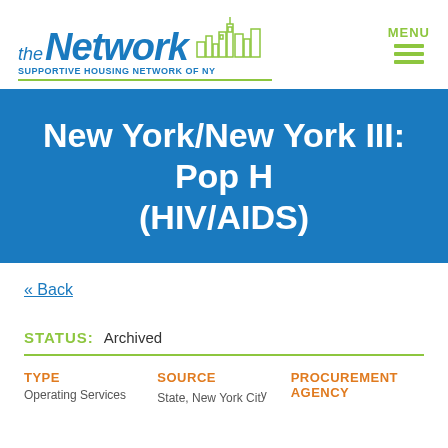[Figure (logo): The Network - Supportive Housing Network of NY logo with NYC skyline illustration and green underline]
New York/New York III: Pop H (HIV/AIDS)
« Back
STATUS: Archived
| TYPE | SOURCE | PROCUREMENT AGENCY |
| --- | --- | --- |
| Operating Services | State, New York City | AGENCY |